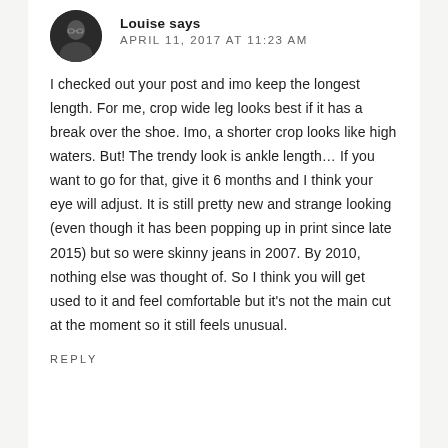Louise says — APRIL 11, 2017 AT 11:23 AM
I checked out your post and imo keep the longest length. For me, crop wide leg looks best if it has a break over the shoe. Imo, a shorter crop looks like high waters. But! The trendy look is ankle length… If you want to go for that, give it 6 months and I think your eye will adjust. It is still pretty new and strange looking (even though it has been popping up in print since late 2015) but so were skinny jeans in 2007. By 2010, nothing else was thought of. So I think you will get used to it and feel comfortable but it's not the main cut at the moment so it still feels unusual.
REPLY